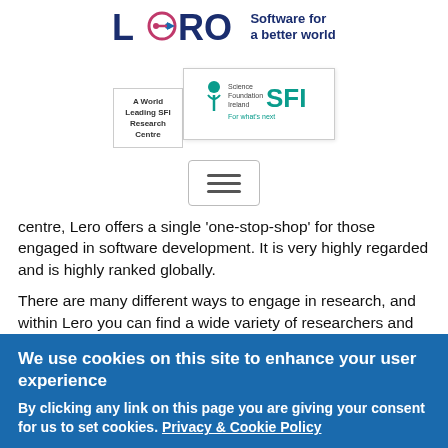[Figure (logo): Lero logo with circular arrow motif and tagline 'Software for a better world' in navy blue]
[Figure (logo): Two overlapping badges: 'A World Leading SFI Research Centre' text badge and Science Foundation Ireland (SFI) 'For what's next' logo badge]
[Figure (other): Hamburger menu button with three horizontal lines]
centre, Lero offers a single 'one-stop-shop' for those engaged in software development. It is very highly regarded and is highly ranked globally.
There are many different ways to engage in research, and within Lero you can find a wide variety of researchers and topics. What I particularly like is the
We use cookies on this site to enhance your user experience
By clicking any link on this page you are giving your consent for us to set cookies. Privacy & Cookie Policy